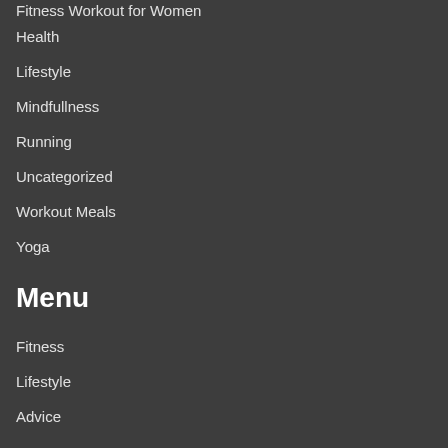Fitness Workout for Women
Health
Lifestyle
Mindfullness
Running
Uncategorized
Workout Meals
Yoga
Menu
Fitness
Lifestyle
Advice